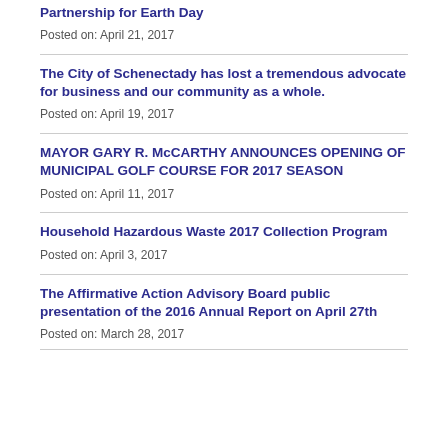Partnership for Earth Day
Posted on: April 21, 2017
The City of Schenectady has lost a tremendous advocate for business and our community as a whole.
Posted on: April 19, 2017
MAYOR GARY R. McCARTHY ANNOUNCES OPENING OF MUNICIPAL GOLF COURSE FOR 2017 SEASON
Posted on: April 11, 2017
Household Hazardous Waste 2017 Collection Program
Posted on: April 3, 2017
The Affirmative Action Advisory Board public presentation of the 2016 Annual Report on April 27th
Posted on: March 28, 2017